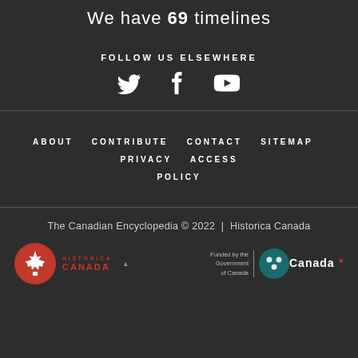We have 69 timelines
FOLLOW US ELSEWHERE
[Figure (infographic): Social media icons: Twitter bird, Facebook f, YouTube play button]
ABOUT  CONTRIBUTE  CONTACT  SITEMAP  PRIVACY  ACCESS POLICY
The Canadian Encyclopedia © 2022  |  Historica Canada
[Figure (logo): Historica Canada logo with maple leaf icon and red/white text]
[Figure (logo): Funded by the Government of Canada logo with Canada wordmark and circular teal emblem]